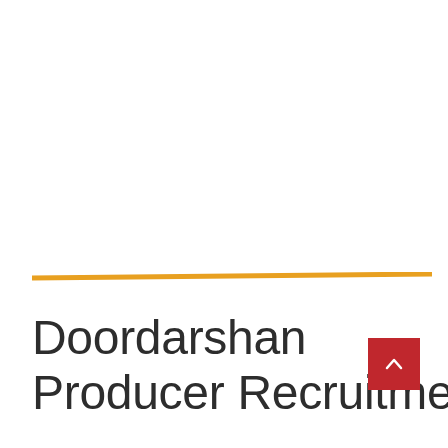[Figure (other): Decorative diagonal orange/amber horizontal rule divider line spanning most of the page width]
Doordarshan Producer Recruitment